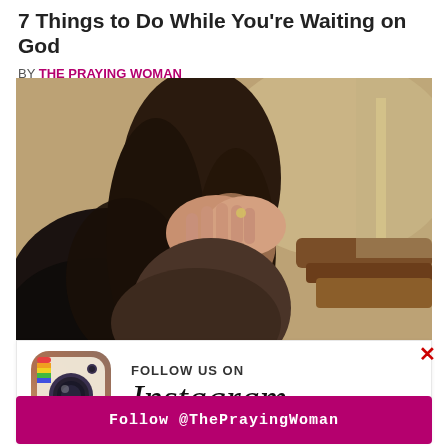7 Things to Do While You're Waiting on God
BY THE PRAYING WOMAN
[Figure (photo): Woman with long dark hair sitting in a church pew with her face buried in her hands in prayer]
[Figure (logo): Instagram camera icon logo with Follow Us On Instagram text and Follow @ThePrayingWoman button]